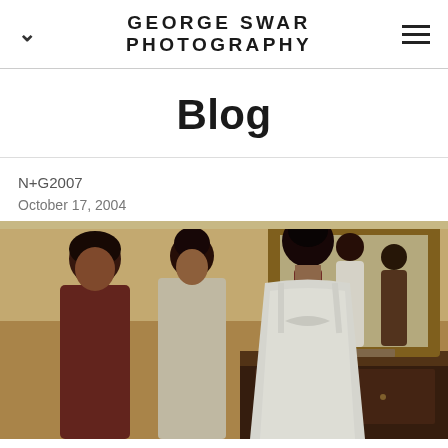GEORGE SWAR PHOTOGRAPHY
Blog
N+G2007
October 17, 2004
[Figure (photo): Wedding preparation scene showing a bride in a white dress viewed from behind, standing before a large ornate gold-framed mirror, with two women assisting her in a hotel room. The mirror's reflection shows the bride and her helpers from the front.]